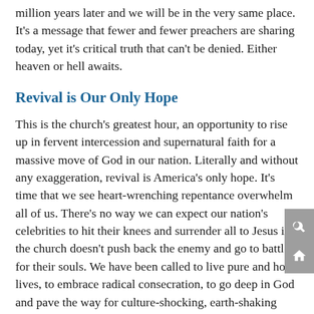million years later and we will be in the very same place. It's a message that fewer and fewer preachers are sharing today, yet it's critical truth that can't be denied. Either heaven or hell awaits.
Revival is Our Only Hope
This is the church's greatest hour, an opportunity to rise up in fervent intercession and supernatural faith for a massive move of God in our nation. Literally and without any exaggeration, revival is America's only hope. It's time that we see heart-wrenching repentance overwhelm all of us. There's no way we can expect our nation's celebrities to hit their knees and surrender all to Jesus if the church doesn't push back the enemy and go to battle for their souls. We have been called to live pure and holy lives, to embrace radical consecration, to go deep in God and pave the way for culture-shocking, earth-shaking revival.